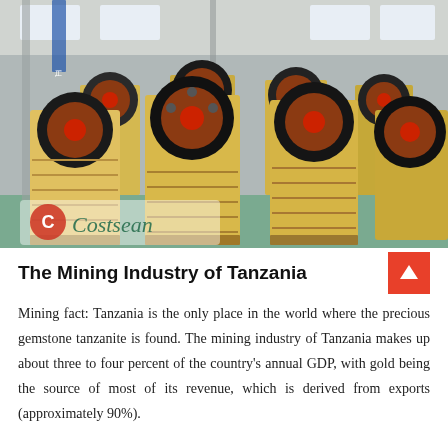[Figure (photo): Industrial photo showing multiple large yellow jaw crusher machines with black and red flywheels lined up in a warehouse/factory setting. A watermark reads 'Costsean' with a red circle logo in the lower left of the image.]
The Mining Industry of Tanzania
Mining fact: Tanzania is the only place in the world where the precious gemstone tanzanite is found. The mining industry of Tanzania makes up about three to four percent of the country's annual GDP, with gold being the source of most of its revenue, which is derived from exports (approximately 90%).